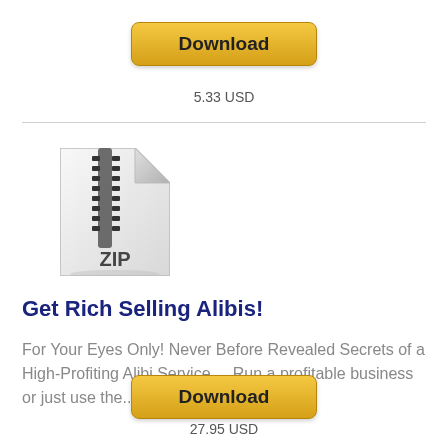[Figure (other): Download button (gold/yellow rounded rectangle) with label 'Download']
5.33 USD
[Figure (other): ZIP file icon — stylized document with zipper and 'ZIP' label]
Get Rich Selling Alibis!
For Your Eyes Only! Never Before Revealed Secrets of a High-Profiting Alibi Service.... Run a profitable business or just use the...
[Figure (other): Download button (gold/yellow rounded rectangle) with label 'Download']
27.95 USD